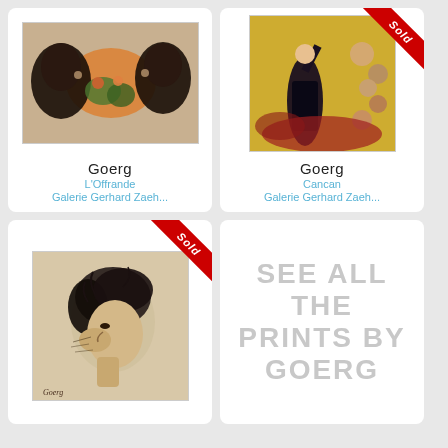[Figure (illustration): Artwork by Goerg showing two dark figures facing each other with orange/green floral elements in between - L'Offrande print]
Goerg
L'Offrande
Galerie Gerhard Zaeh...
[Figure (illustration): Artwork by Goerg showing a dancer in black dress with several faces/figures watching - Cancan print. SOLD ribbon in top right corner.]
Goerg
Cancan
Galerie Gerhard Zaeh...
[Figure (illustration): Artwork by Goerg showing a woman's head in profile with sketchy black ink lines - SOLD ribbon in top right corner.]
SEE ALL THE PRINTS BY GOERG